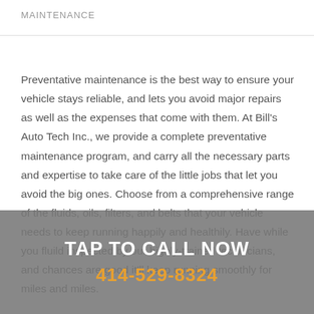MAINTENANCE
Preventative maintenance is the best way to ensure your vehicle stays reliable, and lets you avoid major repairs as well as the expenses that come with them. At Bill's Auto Tech Inc., we provide a complete preventative maintenance program, and carry all the necessary parts and expertise to take care of the little jobs that let you avoid the big ones. Choose from a comprehensive range of the fluids, oils, filters, and belts that your vehicle needs to keep running happily and healthily. Have while you fluild inspected by our highly-trained technicians, and chances are good it'll keep running smoothly for miles and miles.
TAP TO CALL NOW
414-529-8324